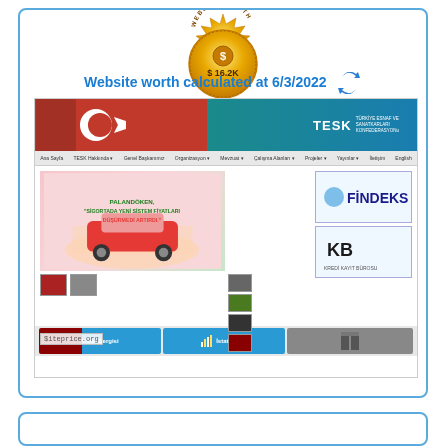[Figure (infographic): Gold coin badge with 'WEBSITE WORTH' text around the edge and '$ 16.2K' in the center]
Website worth calculated at 6/3/2022
[Figure (screenshot): Screenshot of TESK (Türkiye Esnaf ve Sanatkarları Konfederasyonu) website showing the homepage with Turkish flag banner, navigation menu, main news image about insurance prices, FINDEKS and Kredi Kayıt Bürosu sidebar ads, thumbnail images, and footer buttons for 'Vitrin Dergisi' and 'İstatistikler'. Watermark shows '$iteprice.org'.]